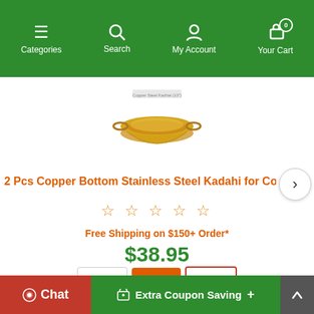Categories | Search | My Account | Your Cart (0)
[Figure (photo): Copper bottom stainless steel kadahi cooking pot with two handles, viewed from above at an angle]
2 Pcs Copper Bottom Stainless Steel Kadahi for Co...
☆ ☆ ☆ ☆ ☆ (star rating, 0 of 5)
Free Shipping on $150+ Order*
$38.95
Quantity: 1, Add to Cart button, Wishlist button
Chat | Extra Coupon Saving +